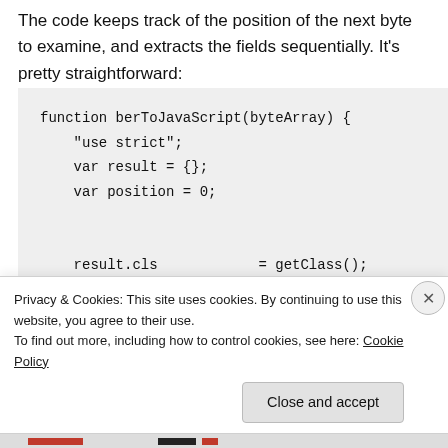The code keeps track of the position of the next byte to examine, and extracts the fields sequentially. It's pretty straightforward:
Privacy & Cookies: This site uses cookies. By continuing to use this website, you agree to their use.
To find out more, including how to control cookies, see here: Cookie Policy
Close and accept